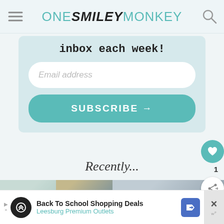ONE SMILEY MONKEY
inbox each week!
Email address
SUBSCRIBE →
Recently...
[Figure (photo): Two thumbnail images: one showing a room interior with window, another showing a room with a ladder]
[Figure (photo): Two thumbnail images of interior spaces including a hallway/storage area]
Back To School Shopping Deals
Leesburg Premium Outlets